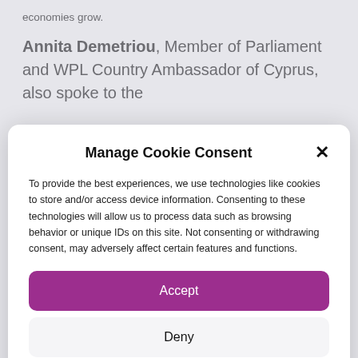economies grow.
Annita Demetriou, Member of Parliament and WPL Country Ambassador of Cyprus, also spoke to the
Manage Cookie Consent
To provide the best experiences, we use technologies like cookies to store and/or access device information. Consenting to these technologies will allow us to process data such as browsing behavior or unique IDs on this site. Not consenting or withdrawing consent, may adversely affect certain features and functions.
Accept
Deny
View preferences
Cookie Policy   Privacy Statement